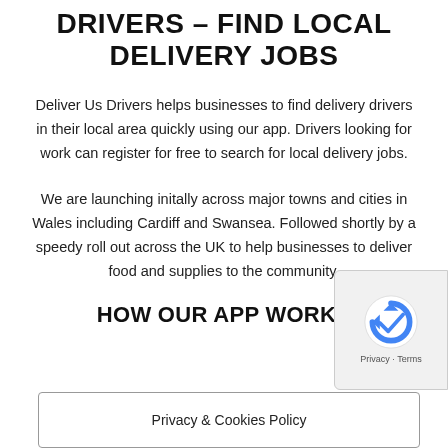DRIVERS – FIND LOCAL DELIVERY JOBS
Deliver Us Drivers helps businesses to find delivery drivers in their local area quickly using our app.  Drivers looking for work can register for free to search for local delivery jobs.
We are launching initally across major towns and cities in Wales including Cardiff and Swansea.  Followed shortly by a speedy roll out across the UK to help businesses to deliver food and supplies to the community.
HOW OUR APP WORKS
Privacy & Cookies Policy